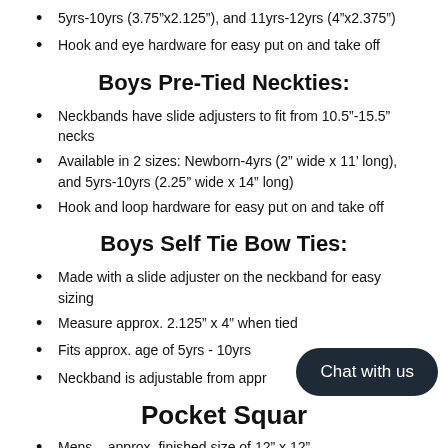5yrs-10yrs (3.75"x2.125"), and 11yrs-12yrs (4"x2.375")
Hook and eye hardware for easy put on and take off
Boys Pre-Tied Neckties:
Neckbands have slide adjusters to fit from 10.5"-15.5" necks
Available in 2 sizes: Newborn-4yrs (2" wide x 11' long), and 5yrs-10yrs (2.25" wide x 14" long)
Hook and loop hardware for easy put on and take off
Boys Self Tie Bow Ties:
Made with a slide adjuster on the neckband for easy sizing
Measure approx. 2.125" x 4" when tied
Fits approx. age of 5yrs - 10yrs
Neckband is adjustable from appr...
Pocket Squar...
Mens – approx. finished size of 12" x 12"